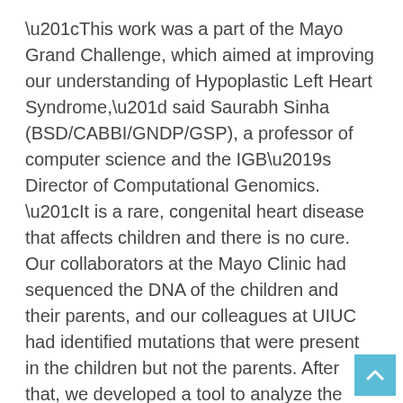“This work was a part of the Mayo Grand Challenge, which aimed at improving our understanding of Hypoplastic Left Heart Syndrome,” said Saurabh Sinha (BSD/CABBI/GNDP/GSP), a professor of computer science and the IGB’s Director of Computational Genomics. “It is a rare, congenital heart disease that affects children and there is no cure. Our collaborators at the Mayo Clinic had sequenced the DNA of the children and their parents, and our colleagues at UIUC had identified mutations that were present in the children but not the parents. After that, we developed a tool to analyze the data to understand the disease pathways better.”
[Figure (other): Back to top button: a light blue square with a white upward-pointing chevron arrow]